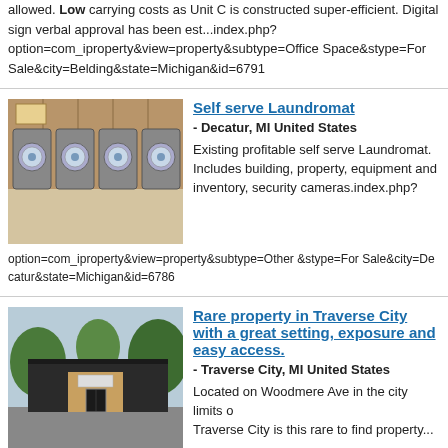allowed. Low carrying costs as Unit C is constructed super-efficient. Digital sign verbal approval has been est...index.php?option=com_iproperty&view=property&subtype=Office Space&stype=For Sale&city=Belding&state=Michigan&id=6791
[Figure (photo): Interior of a self-serve laundromat with rows of front-loading washing machines along wooden-paneled walls.]
Self serve Laundromat
- Decatur, MI United States
Existing profitable self serve Laundromat. Includes building, property, equipment and inventory, security cameras.index.php?
option=com_iproperty&view=property&subtype=Other &stype=For Sale&city=Decatur&state=Michigan&id=6786
[Figure (photo): Exterior of a dark-colored commercial building with a light wood-panel entrance, surrounded by trees, parking area in front.]
Rare property in Traverse City with a great setting, exposure and easy access.
- Traverse City, MI United States
Located on Woodmere Ave in the city limits of Traverse City is this rare to find property...